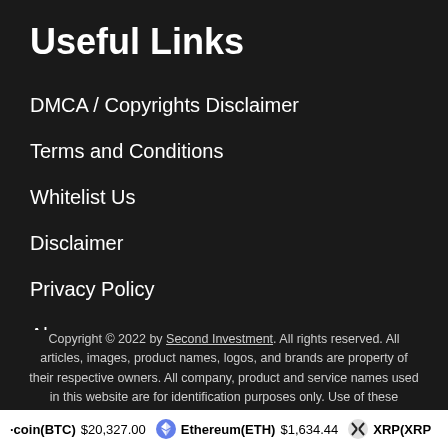Useful Links
DMCA / Copyrights Disclaimer
Terms and Conditions
Whitelist Us
Disclaimer
Privacy Policy
Abuse
Copyright © 2022 by Second Investment. All rights reserved. All articles, images, product names, logos, and brands are property of their respective owners. All company, product and service names used in this website are for identification purposes only. Use of these names, logos, and brands does not
Bitcoin(BTC) $20,327.00   Ethereum(ETH) $1,634.44   XRP(XRP